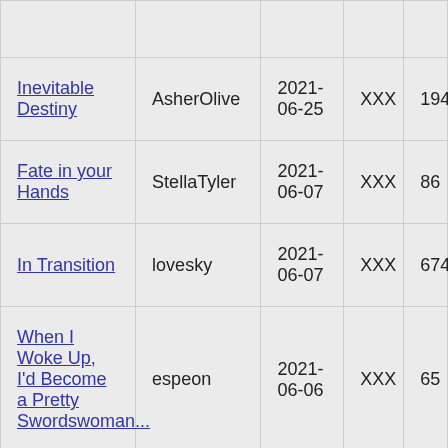| Title | Author | Date | Rating | Count |
| --- | --- | --- | --- | --- |
| Inevitable Destiny | AsherOlive | 2021-06-25 | XXX | 194 |
| Fate in your Hands | StellaTyler | 2021-06-07 | XXX | 86 |
| In Transition | lovesky | 2021-06-07 | XXX | 674 |
| When I Woke Up, I'd Become a Pretty Swordswoman... | espeon | 2021-06-06 | XXX | 65 |